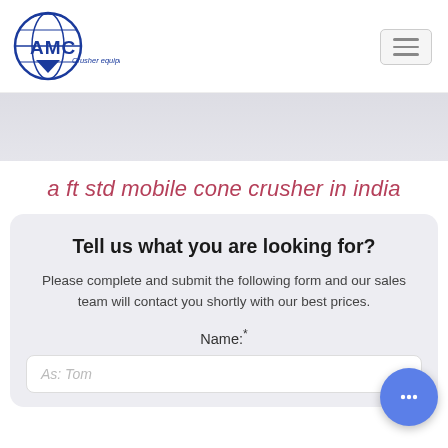[Figure (logo): AMC Crusher Equipment logo — globe with AMC text and 'Crusher equipment' tagline in blue]
[Figure (other): Light gray banner/hero image area]
a ft std mobile cone crusher in india
Tell us what you are looking for?
Please complete and submit the following form and our sales team will contact you shortly with our best prices.
Name:*
As: Tom